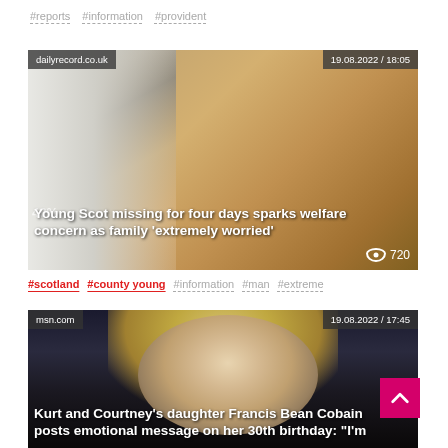#reports  #information  #provident
[Figure (photo): News article card from dailyrecord.co.uk dated 19.08.2022 / 18:05 showing a young man's face. Headline: Young Scot missing for four days sparks welfare concern as family 'extremely worried'. Views: 720. Engagement: 48%.]
#scotland  #county young  #information  #man  #extreme
[Figure (photo): News article card from msn.com dated 19.08.2022 / 17:45 showing a blonde woman's face. Headline: Kurt and Courtney's daughter Francis Bean Cobain posts emotional message on her 30th birthday: "I'm]